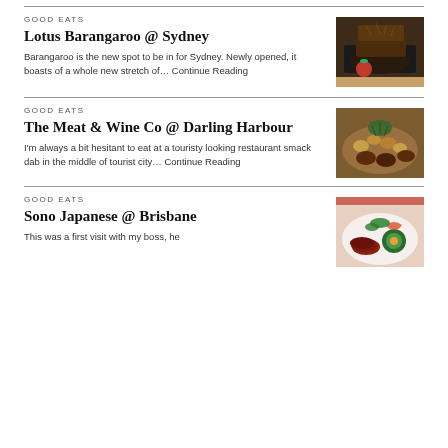GOOD EATS
Lotus Barangaroo @ Sydney
Barangaroo is the new spot to be in for Sydney. Newly opened, it boasts of a whole new stretch of… Continue Reading
[Figure (photo): A plated dish of grilled meat with garnish and a halved tomato on a dark tray]
GOOD EATS
The Meat & Wine Co @ Darling Harbour
I'm always a bit hesitant to eat at a touristy looking restaurant smack dab in the middle of tourist city… Continue Reading
[Figure (photo): A wooden board with small grilled meat patties and roasted potatoes garnished with herbs]
GOOD EATS
Sono Japanese @ Brisbane
This was a first visit with my boss, he
[Figure (photo): A Japanese plated dish with sliced meat, vegetable roll, and greens on a white plate]